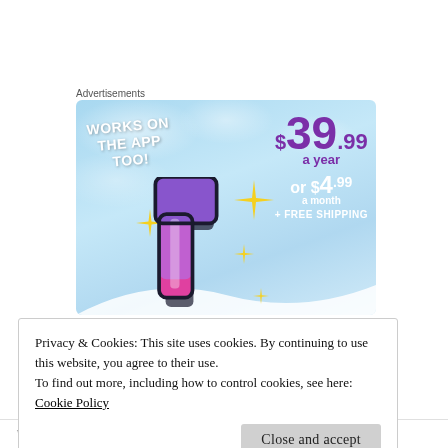Advertisements
[Figure (illustration): Tumblr advertisement showing a stylized 't' logo with sparkles on a light blue sky background. Text reads 'WORKS ON THE APP TOO!' and pricing '$39.99 a year or $4.99 a month + FREE SHIPPING']
Privacy & Cookies: This site uses cookies. By continuing to use this website, you agree to their use.
To find out more, including how to control cookies, see here: Cookie Policy
Close and accept
Whether or not you've had time to write your own